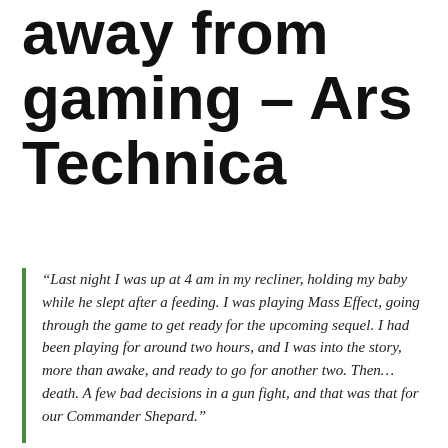away from gaming – Ars Technica
“Last night I was up at 4 am in my recliner, holding my baby while he slept after a feeding. I was playing Mass Effect, going through the game to get ready for the upcoming sequel. I had been playing for around two hours, and I was into the story, more than awake, and ready to go for another two. Then… death. A few bad decisions in a gun fight, and that was that for our Commander Shepard.”